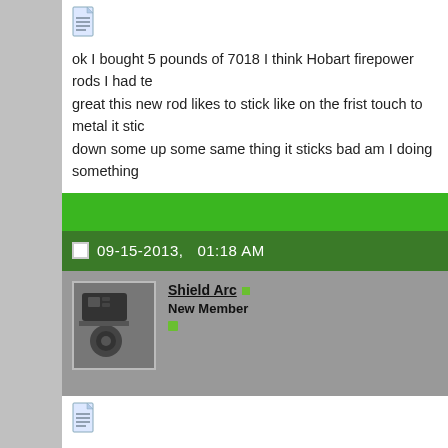ok I bought 5 pounds of 7018 I think Hobart firepower rods I had te... great this new rod likes to stick like on the frist touch to metal it stic... down some up some same thing it sticks bad am I doing something...
09-15-2013,   01:18 AM
Shield Arc
New Member
This is where adjustable hot start really come in handy for guys jus...
09-28-2013,   01:07 PM
SeanMurphy365